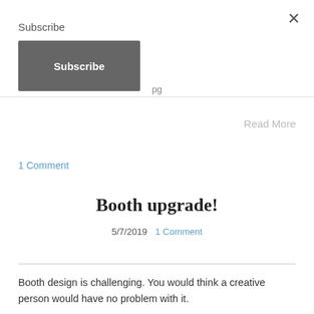×
Subscribe
Subscribe
pg
Read More
1 Comment
Booth upgrade!
5/7/2019  1 Comment
Booth design is challenging. You would think a creative person would have no problem with it.